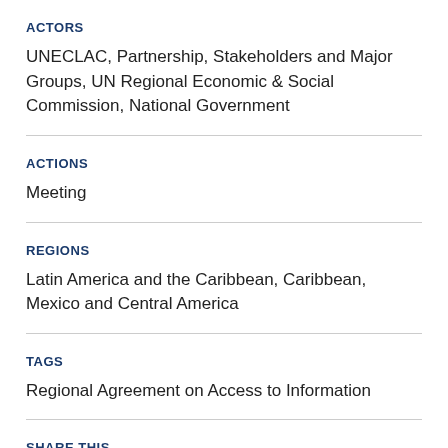ACTORS
UNECLAC, Partnership, Stakeholders and Major Groups, UN Regional Economic & Social Commission, National Government
ACTIONS
Meeting
REGIONS
Latin America and the Caribbean, Caribbean, Mexico and Central America
TAGS
Regional Agreement on Access to Information
SHARE THIS